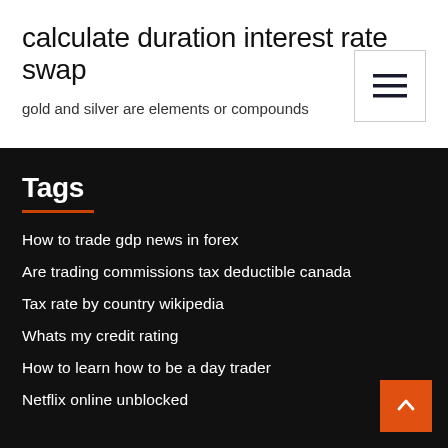calculate duration interest rate swap
gold and silver are elements or compounds
Tags
How to trade gdp news in forex
Are trading commissions tax deductible canada
Tax rate by country wikipedia
Whats my credit rating
How to learn how to be a day trader
Netflix online unblocked